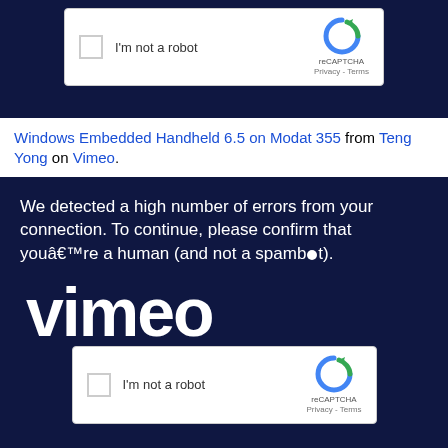[Figure (screenshot): reCAPTCHA 'I'm not a robot' checkbox widget at top of page on dark navy background]
Windows Embedded Handheld 6.5 on Modat 355 from Teng Yong on Vimeo.
[Figure (screenshot): Vimeo error page on dark navy background with message: 'We detected a high number of errors from your connection. To continue, please confirm that youâ€™re a human (and not a spambot).' with large Vimeo logo text and reCAPTCHA 'I'm not a robot' checkbox widget]